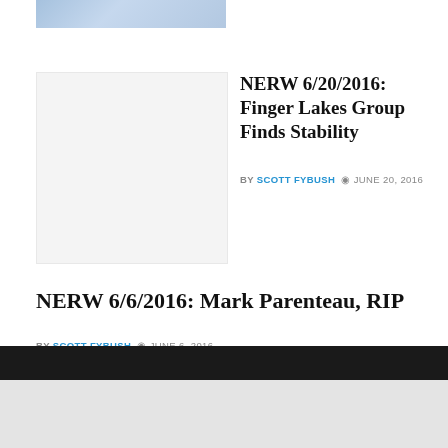[Figure (photo): Partially visible banner/logo image at top]
[Figure (photo): Article thumbnail image, light gray placeholder]
NERW 6/20/2016: Finger Lakes Group Finds Stability
BY SCOTT FYBUSH  JUNE 20, 2016
NERW 6/6/2016: Mark Parenteau, RIP
BY SCOTT FYBUSH  JUNE 6, 2016
1 2 >